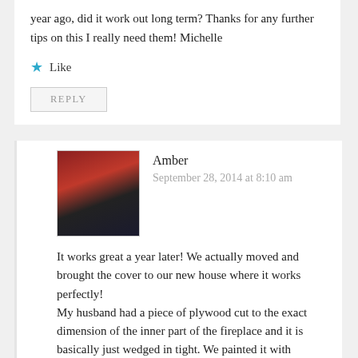year ago, did it work out long term? Thanks for any further tips on this I really need them! Michelle
★ Like
REPLY
Amber
September 28, 2014 at 8:10 am
It works great a year later! We actually moved and brought the cover to our new house where it works perfectly!
My husband had a piece of plywood cut to the exact dimension of the inner part of the fireplace and it is basically just wedged in tight. We painted it with magnetic paint so it's functional too. The quads have magnetic letters and numbers they stick on it. Good luck!